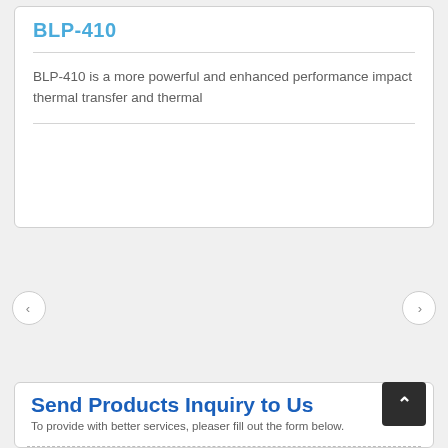BLP-410
BLP-410 is a more powerful and enhanced performance impact thermal transfer and thermal
Send Products Inquiry to Us
To provide with better services, pleaser fill out the form below.